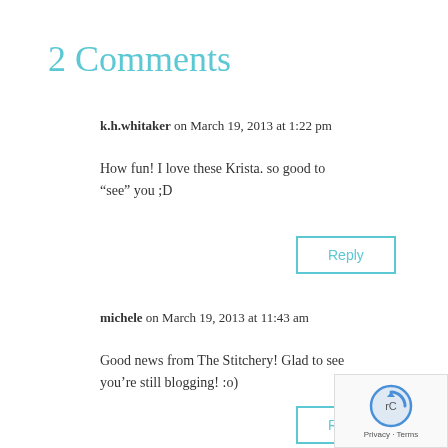2 Comments
k.h.whitaker on March 19, 2013 at 1:22 pm
How fun! I love these Krista. so good to “see” you ;D
Reply
michele on March 19, 2013 at 11:43 am
Good news from The Stitchery! Glad to see you’re still blogging! :o)
Reply